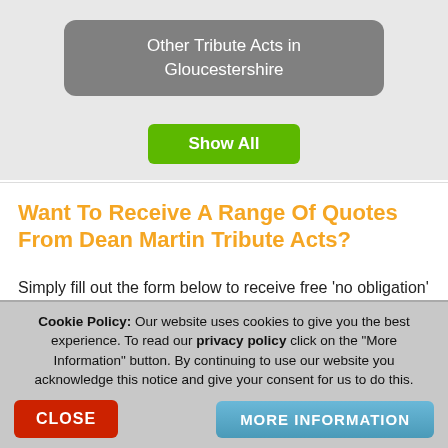Other Tribute Acts in Gloucestershire
Show All
Want To Receive A Range Of Quotes From Dean Martin Tribute Acts?
Simply fill out the form below to receive free 'no obligation' quotes via email usually within 1-48hrs.
Cookie Policy: Our website uses cookies to give you the best experience. To read our privacy policy click on the "More Information" button. By continuing to use our website you acknowledge this notice and give your consent for us to do this.
CLOSE
MORE INFORMATION